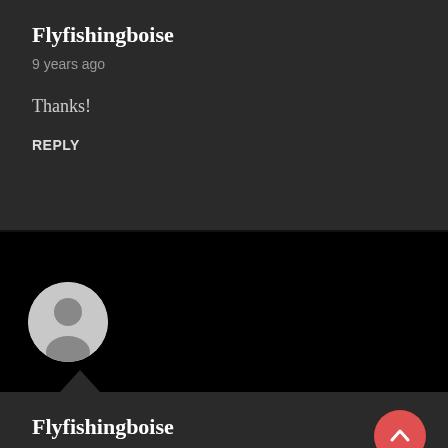Flyfishingboise
9 years ago
Thanks!
REPLY
[Figure (illustration): Default user avatar circle with generic person silhouette icon, gray on dark background]
Flyfishingboise
9 years ago